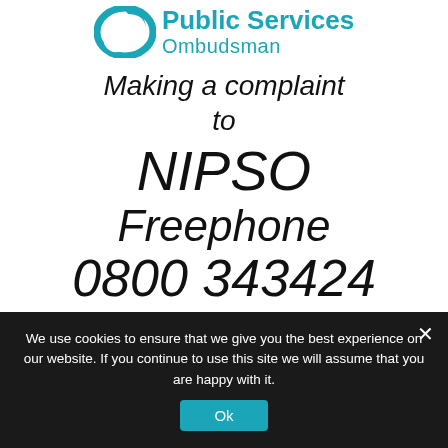[Figure (logo): Northern Ireland Public Services Ombudsman logo — teal circular swoosh icon with organisation name in teal text]
Making a complaint to NIPSO
Freephone
0800 343424
We use cookies to ensure that we give you the best experience on our website. If you continue to use this site we will assume that you are happy with it.